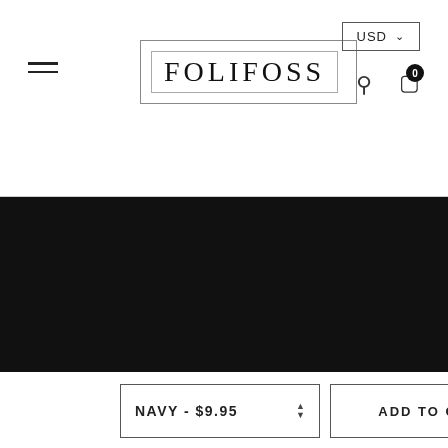[Figure (logo): FOLIFOSS logo in bordered box, website header]
USD  0
— Categories
Hot Sale
Chair Covers
Sofa Covers
Bed Spread
Home Accessories
New Arrival
NAVY - $9.95
ADD TO CART